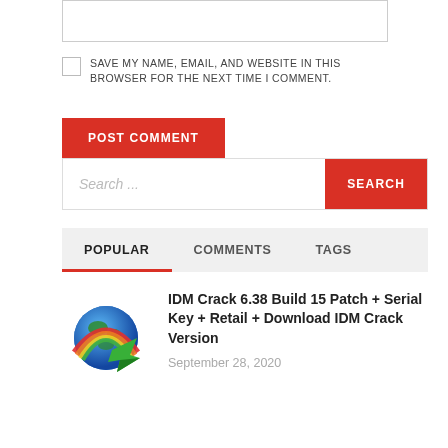[Figure (other): Text input/textarea box (partially visible at top)]
SAVE MY NAME, EMAIL, AND WEBSITE IN THIS BROWSER FOR THE NEXT TIME I COMMENT.
POST COMMENT
Search...
SEARCH
POPULAR   COMMENTS   TAGS
[Figure (logo): IDM (Internet Download Manager) logo — colorful globe with green arrow]
IDM Crack 6.38 Build 15 Patch + Serial Key + Retail + Download IDM Crack Version
September 28, 2020